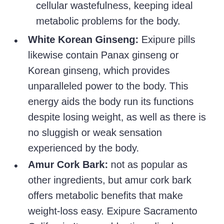cellular wastefulness, keeping ideal metabolic problems for the body.
White Korean Ginseng: Exipure pills likewise contain Panax ginseng or Korean ginseng, which provides unparalleled power to the body. This energy aids the body run its functions despite losing weight, as well as there is no sluggish or weak sensation experienced by the body.
Amur Cork Bark: not as popular as other ingredients, but amur cork bark offers metabolic benefits that make weight-loss easy. Exipure Sacramento California It eases bloating, diarrhea, pains, queasiness, unwanted gas, as well as various other conditions that are common in obese people.
Quercetin: Following on this list is quercetin,